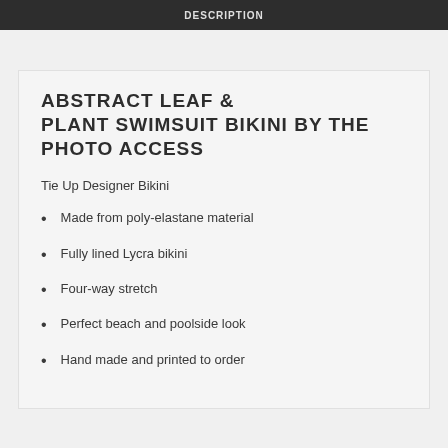DESCRIPTION
ABSTRACT LEAF & PLANT SWIMSUIT BIKINI BY THE PHOTO ACCESS
Tie Up Designer Bikini
Made from poly-elastane material
Fully lined Lycra bikini
Four-way stretch
Perfect beach and poolside look
Hand made and printed to order